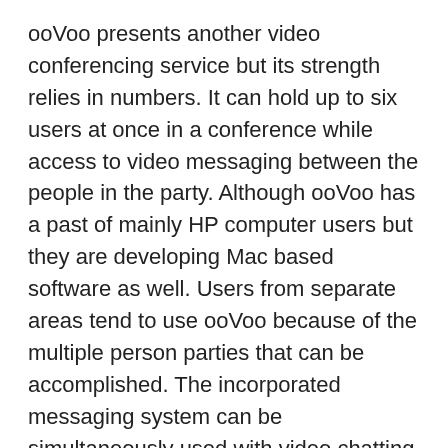ooVoo presents another video conferencing service but its strength relies in numbers. It can hold up to six users at once in a conference while access to video messaging between the people in the party. Although ooVoo has a past of mainly HP computer users but they are developing Mac based software as well. Users from separate areas tend to use ooVoo because of the multiple person parties that can be accomplished. The incorporated messaging system can be simultaneously used with video chatting which can be referred to after the meeting for meeting notes or any needed documentation.
Communication methods similar to ooVoo and other computer software built for collaboration isn't